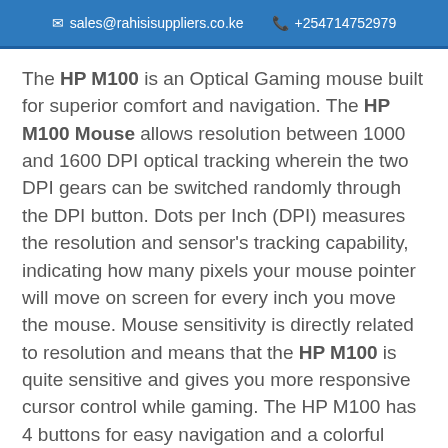sales@rahisisuppliers.co.ke  +254714752979
The HP M100 is an Optical Gaming mouse built for superior comfort and navigation. The HP M100 Mouse allows resolution between 1000 and 1600 DPI optical tracking wherein the two DPI gears can be switched randomly through the DPI button. Dots per Inch (DPI) measures the resolution and sensor's tracking capability, indicating how many pixels your mouse pointer will move on screen for every inch you move the mouse. Mouse sensitivity is directly related to resolution and means that the HP M100 is quite sensitive and gives you more responsive cursor control while gaming. The HP M100 has 4 buttons for easy navigation and a colorful backlit display. The DPI button can adjust the movement and speed of the mouse. The high-